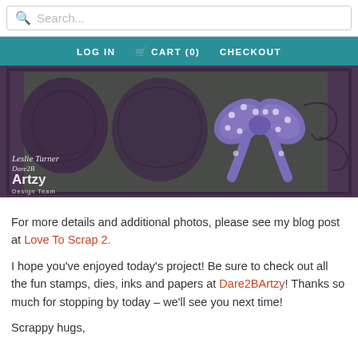Search...
LOG IN  CART (0)  CHECKOUT
[Figure (photo): Close-up photo of a decorative die-cut card with purple/mauve ornamental pattern and a purple polka-dot ribbon bow, with 'Leslie Turner Dare2B Artzy Design Team' watermark]
For more details and additional photos, please see my blog post at Love To Scrap 2.
I hope you've enjoyed today's project! Be sure to check out all the fun stamps, dies, inks and papers at Dare2BArtzy! Thanks so much for stopping by today – we'll see you next time!
Scrappy hugs,